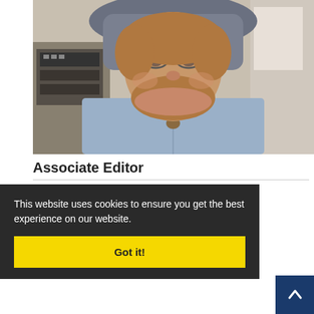[Figure (photo): Portrait photo of Ewald Schnug, a man with reddish-brown beard and glasses, seated at a desk wearing a light blue shirt with a pendant necklace]
Associate Editor
Ewald Schnug
…tut, Federal
…zers (CIEC)
This website uses cookies to ensure you get the best experience on our website.
Got it!